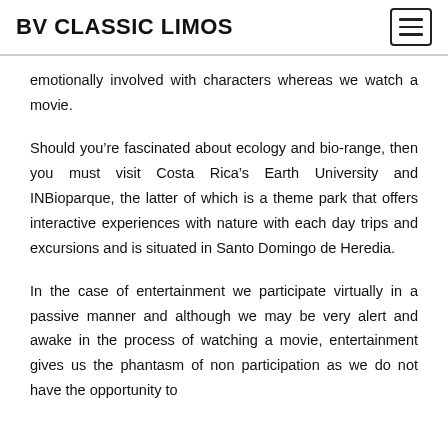BV CLASSIC LIMOS
emotionally involved with characters whereas we watch a movie.
Should you're fascinated about ecology and bio-range, then you must visit Costa Rica's Earth University and INBioparque, the latter of which is a theme park that offers interactive experiences with nature with each day trips and excursions and is situated in Santo Domingo de Heredia.
In the case of entertainment we participate virtually in a passive manner and although we may be very alert and awake in the process of watching a movie, entertainment gives us the phantasm of non participation as we do not have the opportunity to